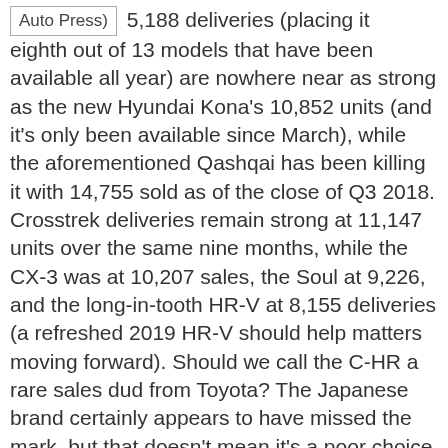Auto Press)
5,188 deliveries (placing it eighth out of 13 models that have been available all year) are nowhere near as strong as the new Hyundai Kona's 10,852 units (and it's only been available since March), while the aforementioned Qashqai has been killing it with 14,755 sold as of the close of Q3 2018. Crosstrek deliveries remain strong at 11,147 units over the same nine months, while the CX-3 was at 10,207 sales, the Soul at 9,226, and the long-in-tooth HR-V at 8,155 deliveries (a refreshed 2019 HR-V should help matters moving forward). Should we call the C-HR a rare sales dud from Toyota? The Japanese brand certainly appears to have missed the mark, but that doesn't mean it's a poor choice for those who don't need as much interior space.
In fact the new C-HR, now in its second model year
[Figure (photo): Red Toyota C-HR vehicle front quarter view showing headlight and hood]